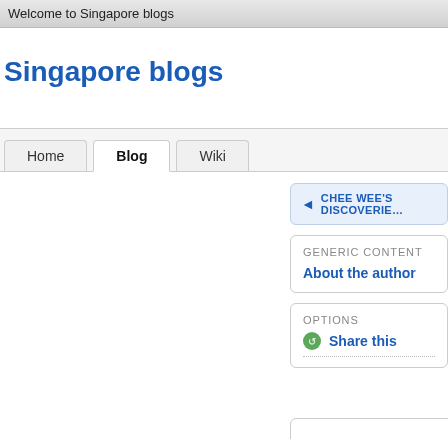Welcome to Singapore blogs
Singapore blogs
Home | Blog | Wiki
CHEE WEE'S DISCOVERIES
GENERIC CONTENT
About the author
OPTIONS
Share this
JNI - the ch...